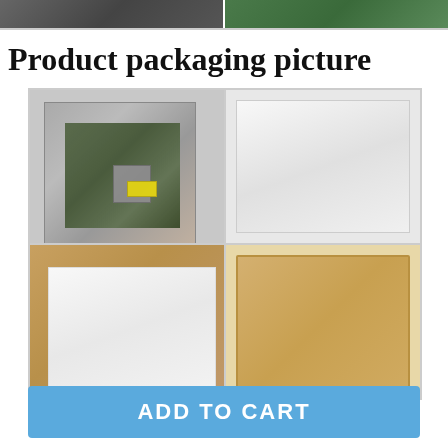[Figure (photo): Top strip showing two product photos: a circuit board on the left and a green PCB on the right]
Product packaging picture
[Figure (photo): 2x2 grid of product packaging photos: top-left shows circuit board in anti-static bag, top-right shows white foam padding, bottom-left shows white foam inside a brown cardboard box, bottom-right shows closed brown cardboard box]
ADD TO CART